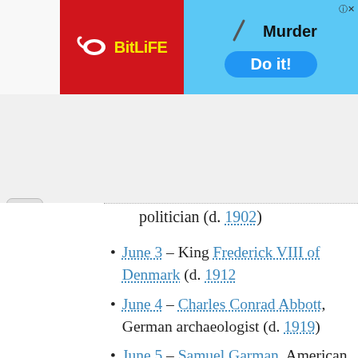[Figure (screenshot): BitLife game advertisement banner with red left panel showing BitLife logo and blue right panel with 'Murder Do it!' call to action button]
politician (d. 1902)
June 3 – King Frederick VIII of Denmark (d. 1912
June 4 – Charles Conrad Abbott, German archaeologist (d. 1919)
June 5 – Samuel Garman, American zoologist (d. 1927)
June 7 – Susan Blow, American educator (d. 1916
June 8 – Kálmán Széll, 13th Prime Minister of Hungary (d. 1915)